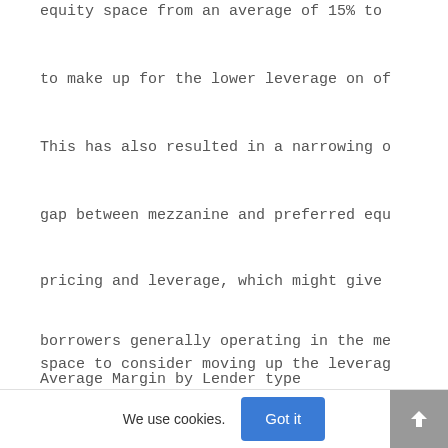equity space from an average of 15% to
to make up for the lower leverage on of
This has also resulted in a narrowing o
gap between mezzanine and preferred equ
pricing and leverage, which might give
borrowers generally operating in the me space to consider moving up the leverag
Average Margin by Lender type
1400